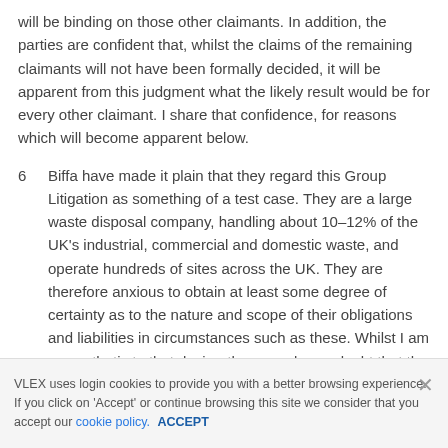will be binding on those other claimants. In addition, the parties are confident that, whilst the claims of the remaining claimants will not have been formally decided, it will be apparent from this judgment what the likely result would be for every other claimant. I share that confidence, for reasons which will become apparent below.
6  Biffa have made it plain that they regard this Group Litigation as something of a test case. They are a large waste disposal company, handling about 10–12% of the UK's industrial, commercial and domestic waste, and operate hundreds of sites across the UK. They are therefore anxious to obtain at least some degree of certainty as to the nature and scope of their obligations and liabilities in circumstances such as these. Whilst I am sympathetic to that desire, there can be no doubt that the fact-specific
VLEX uses login cookies to provide you with a better browsing experience. If you click on 'Accept' or continue browsing this site we consider that you accept our cookie policy.  ACCEPT